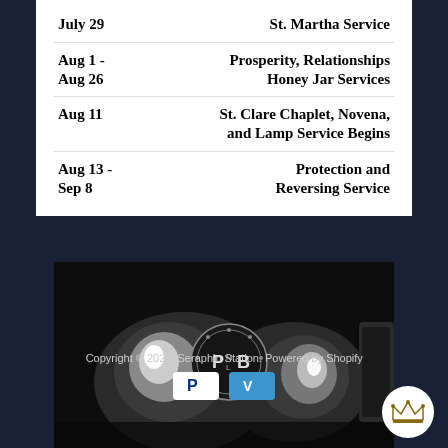| Date | Event |
| --- | --- |
| July 29 | St. Martha Service |
| Aug 1 - Aug 26 | Prosperity, Relationships Honey Jar Services |
| Aug 11 | St. Clare Chaplet, Novena, and Lamp Service Begins |
| Aug 13 - Sep 8 | Protection and Reversing Service |
[Figure (photo): Close-up photo of glass vessels or candle holders with a logo/seal visible in the background, lit with bright light reflections on dark background]
Copyright © 2022, Seraphin Station. Powered by Shopify